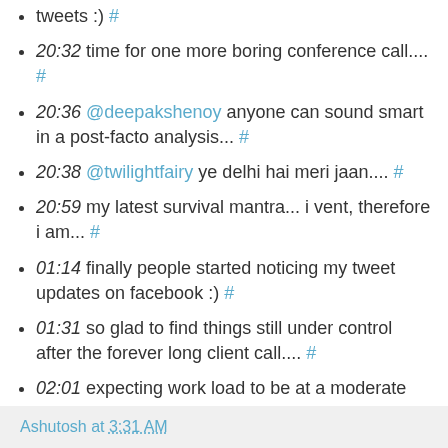tweets :) #
20:32 time for one more boring conference call.... #
20:36 @deepakshenoy anyone can sound smart in a post-facto analysis... #
20:38 @twilightfairy ye delhi hai meri jaan.... #
20:59 my latest survival mantra... i vent, therefore i am... #
01:14 finally people started noticing my tweet updates on facebook :) #
01:31 so glad to find things still under control after the forever long client call.... #
02:01 expecting work load to be at a moderate level for till the end of the week now... hopefully... (fingers crossed) #
Automatically shipped by LoudTwitter
Ashutosh at 3:31 AM